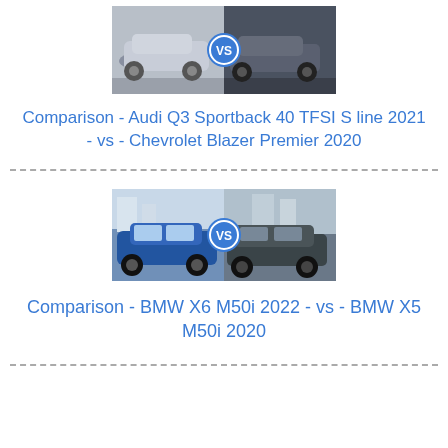[Figure (photo): Side-by-side comparison image of Audi Q3 Sportback 40 TFSI S line 2021 vs Chevrolet Blazer Premier 2020 with a blue VS badge in the center]
Comparison - Audi Q3 Sportback 40 TFSI S line 2021 - vs - Chevrolet Blazer Premier 2020
[Figure (photo): Side-by-side comparison image of BMW X6 M50i 2022 vs BMW X5 M50i 2020 with a blue VS badge in the center]
Comparison - BMW X6 M50i 2022 - vs - BMW X5 M50i 2020